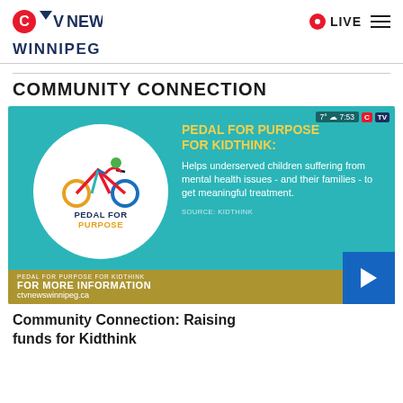CTV NEWS — LIVE — WINNIPEG
COMMUNITY CONNECTION
[Figure (screenshot): CTV News video thumbnail showing 'Pedal For Purpose For Kidthink' campaign. Features a circular logo with cyclist graphic, text: 'PEDAL FOR PURPOSE FOR KIDTHINK: Helps underserved children suffering from mental health issues - and their families - to get meaningful treatment.' Source: KIDTHINK. Bottom bar: 'FOR MORE INFORMATION ctvnewswinnipeg.ca']
Community Connection: Raising funds for Kidthink